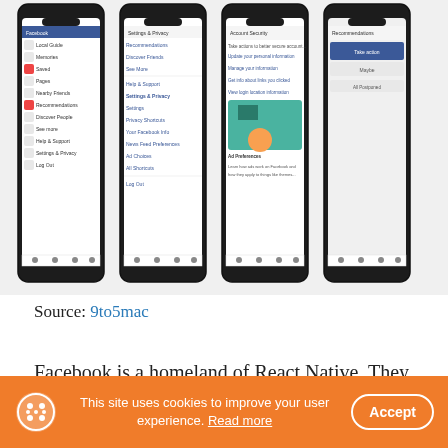[Figure (screenshot): Four iPhone mockups showing Facebook mobile app screens: menu/navigation screens, settings and privacy screens, account security screens, and an Ad Preferences screen]
Source: 9to5mac
Facebook is a homeland of React Native. They developed it to fulfill the company's growing needs. To be specific, they looked for reduced iterations and a single team for building all versions of the app. They tested it on Events Dashboard. Facebook developers improved performance and UX. Besides, all the changes took place on the framework level
This site uses cookies to improve your user experience. Read more   Accept